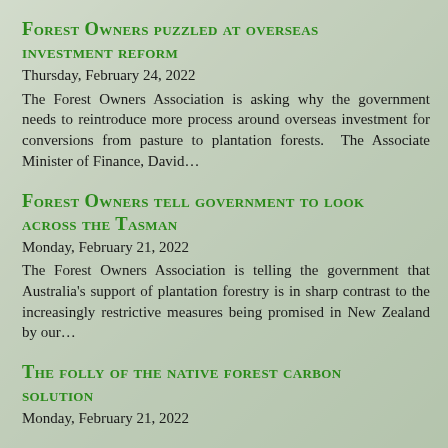Forest Owners puzzled at overseas investment reform
Thursday, February 24, 2022
The Forest Owners Association is asking why the government needs to reintroduce more process around overseas investment for conversions from pasture to plantation forests. The Associate Minister of Finance, David…
Forest Owners tell government to look across the Tasman
Monday, February 21, 2022
The Forest Owners Association is telling the government that Australia's support of plantation forestry is in sharp contrast to the increasingly restrictive measures being promised in New Zealand by our…
The folly of the native forest carbon solution
Monday, February 21, 2022